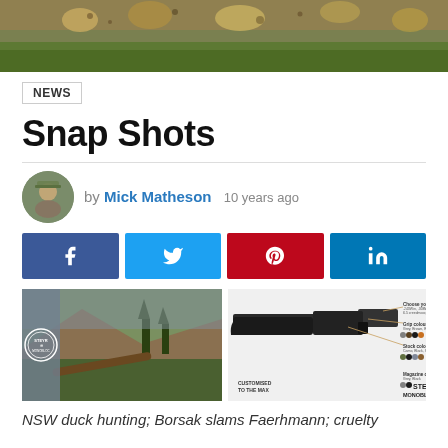[Figure (photo): Hero image of rocky ground with grass and spotted stones]
NEWS
Snap Shots
[Figure (photo): Author avatar photo of Mick Matheson in camouflage]
by Mick Matheson 10 years ago
[Figure (infographic): Social share buttons: Facebook, Twitter, Pinterest, LinkedIn]
[Figure (photo): Left: hunting landscape photo with Steyr Monobloc logo overlay. Right: Steyr Monobloc rifle product image with customization options callouts. Text: CUSTOMISED TO THE MAX / STEYR MONOBLOC]
NSW duck hunting; Borsak slams Faerhmann; cruelty